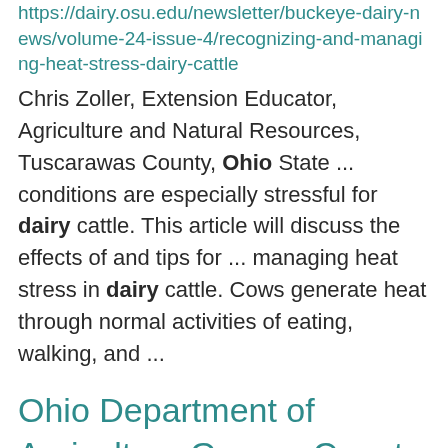https://dairy.osu.edu/newsletter/buckeye-dairy-news/volume-24-issue-4/recognizing-and-managing-heat-stress-dairy-cattle
Chris Zoller, Extension Educator, Agriculture and Natural Resources, Tuscarawas County, Ohio State ... conditions are especially stressful for dairy cattle. This article will discuss the effects of and tips for ... managing heat stress in dairy cattle. Cows generate heat through normal activities of eating, walking, and ...
Ohio Department of Agriculture Greene County Farm Pesticide Disposal Collection Event
http://...